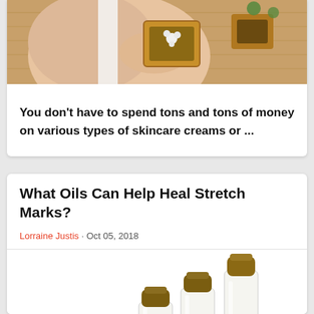[Figure (photo): Person holding a small wooden tray with flowers, spa/skincare setting with wooden background]
You don't have to spend tons and tons of money on various types of skincare creams or ...
What Oils Can Help Heal Stretch Marks?
Lorraine Justis · Oct 05, 2018
[Figure (photo): Three small glass bottles with cork stoppers containing clear and pink liquids, with a pink rose, on white background]